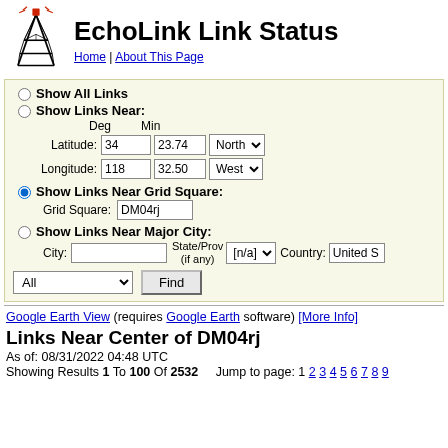EchoLink Link Status
Home | About This Page
Show All Links
Show Links Near:
Deg  Min
Latitude: 34  23.74  North
Longitude: 118  32.50  West
Show Links Near Grid Square:
Grid Square: DM04rj
Show Links Near Major City:
City:  State/Prov (if any): [n/a]  Country: United S
All  Find
Google Earth View (requires Google Earth software) [More Info]
Links Near Center of DM04rj
As of: 08/31/2022 04:48 UTC
Showing Results 1 To 100 Of 2532   Jump to page: 1 2 3 4 5 6 7 8 9